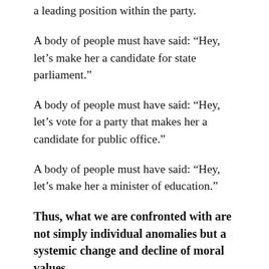a leading position within the party.
A body of people must have said: “Hey, let’s make her a candidate for state parliament.”
A body of people must have said: “Hey, let’s vote for a party that makes her a candidate for public office.”
A body of people must have said: “Hey, let’s make her a minister of education.”
Thus, what we are confronted with are not simply individual anomalies but a systemic change and decline of moral values.
I recommend reading T.S. Eliot’s Christianity and Culture, to find excellent explanations for the cultural transformation mentioned here. While Eliot...